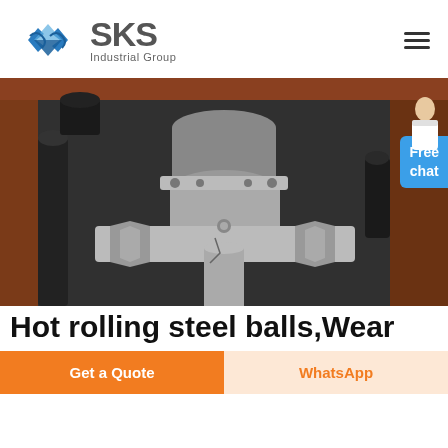[Figure (logo): SKS Industrial Group logo with blue diamond/arrow icon and gray SKS text with 'Industrial Group' subtitle]
[Figure (photo): Industrial machinery photo showing heavy metal pipe fittings, flanges, and valves — grey steel components in a factory/industrial setting with rust-colored structural frame]
Hot rolling steel balls,Wear
Get a Quote
WhatsApp